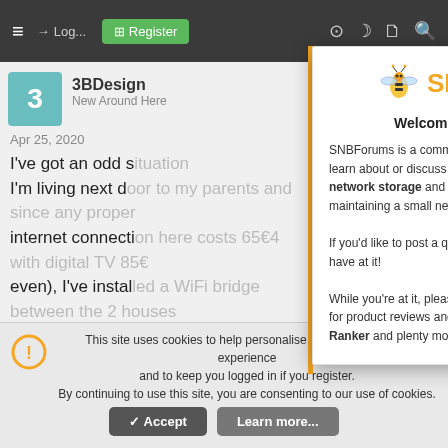SNBForums navigation bar with hamburger menu, login, register, and icons
3BDesign
New Around Here
Apr 25, 2020
I've got an odd situation here.
I'm living next door to my parents and since any proper internet connection here costs 65€4 with digital TV 85€ even), I've installed a WiFi bridge between the 2 houses using 2 RT-AC87U's. The bridge works fine, but only on the 2,4 band, the 5GHz looses connection after a while.
The link speed shown on the webpage of the receiver is
[Figure (screenshot): SNBForums welcome modal dialog with bee logo, welcome message, and registration prompt]
Welcome To SNBForums
SNBForums is a community for anyone who wants to learn about or discuss the latest in wireless routers, network storage and the ins and outs of building and maintaining a small network.
If you'd like to post a question, simply register and have at it!
While you're at it, please check out SmallNetBuilder for product reviews and our famous Router Charts, Ranker and plenty more!
This site uses cookies to help personalise content, tailor your experience and to keep you logged in if you register.
By continuing to use this site, you are consenting to our use of cookies.
Accept   Learn more...